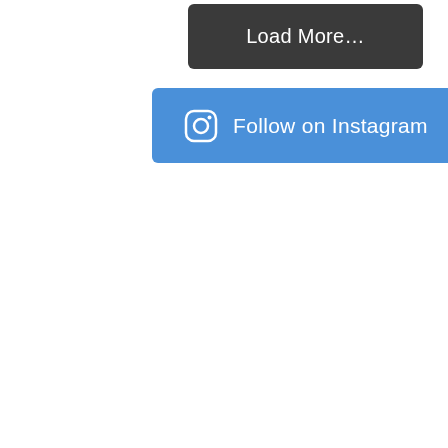[Figure (screenshot): Dark gray rounded button with white text reading 'Load More...']
[Figure (screenshot): Blue rounded button with Instagram camera icon and white text reading 'Follow on Instagram']